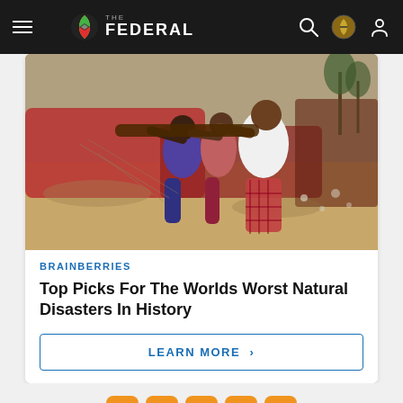THE FEDERAL
[Figure (photo): Several men pushing/pulling a large boat on a sandy beach, possibly after a storm or cyclone. Fishing nets and debris visible.]
BRAINBERRIES
Top Picks For The Worlds Worst Natural Disasters In History
LEARN MORE >